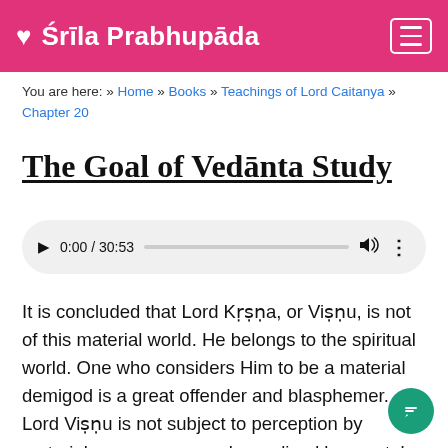♥ Śrīla Prabhupāda
You are here: » Home » Books » Teachings of Lord Caitanya » Chapter 20
The Goal of Vedānta Study
[Figure (other): Audio player showing 0:00 / 30:53 with play button, progress bar, volume and more icons]
It is concluded that Lord Kṛṣṇa, or Viṣṇu, is not of this material world. He belongs to the spiritual world. One who considers Him to be a material demigod is a great offender and blasphemer. Lord Viṣṇu is not subject to perception by material senses, nor can be realized by mental speculation. There is no